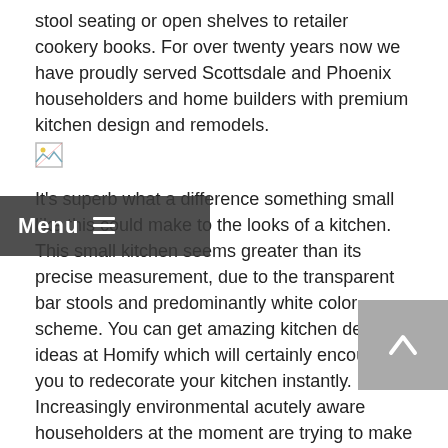stool seating or open shelves to retailer cookery books. For over twenty years now we have proudly served Scottsdale and Phoenix householders and home builders with premium kitchen design and remodels.
[Figure (other): Broken/missing image placeholder icon]
It's superb what a difference something small like this could make to the looks of a kitchen. This small kitchen seems greater than its precise measurement, due to the transparent bar stools and predominantly white color scheme. You can get amazing kitchen design ideas at Homify which will certainly encourage you to redecorate your kitchen instantly. Increasingly environmental acutely aware householders at the moment are trying to make use of environmental pleasant supplies for their kitchen.
This is not necessarily a straightforward kitchen remodel undertaking in terms of plumbing, but it's going to just